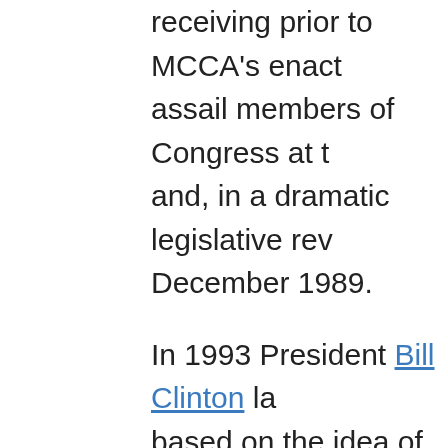receiving prior to MCCA's enact assail members of Congress at t and, in a dramatic legislative rev December 1989.
In 1993 President Bill Clinton la based on the idea of "managed tightly regulated market. The p employed, to carry health insur subsidies would be made availa bankroll 80 percent of all polic were already covered by existin of Veterans Affairs, Indian Healt programs. The Clinton plan pro